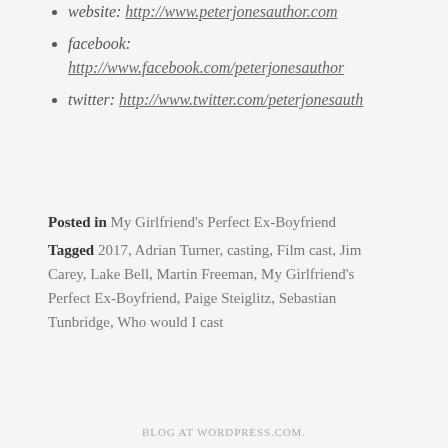website: http://www.peterjonesauthor.com
facebook: http://www.facebook.com/peterjonesauthor
twitter: http://www.twitter.com/peterjonesauth
Posted in My Girlfriend's Perfect Ex-Boyfriend
Tagged 2017, Adrian Turner, casting, Film cast, Jim Carey, Lake Bell, Martin Freeman, My Girlfriend's Perfect Ex-Boyfriend, Paige Steiglitz, Sebastian Tunbridge, Who would I cast
BLOG AT WORDPRESS.COM.